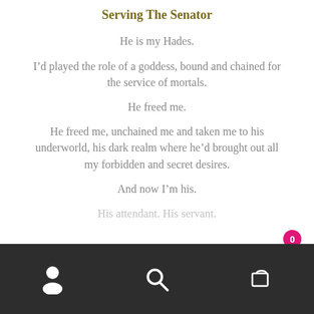Serving The Senator
He is my Hades.
I’d played the role of a goddess, bound and chained for the service of mortals.
He freed me.
He freed me, unchained me and taken me to his underworld, his dark realm where he’d brought out all my forbidden and secret desires.
And now I’m his.
His attendant. His servant.
Navigation bar with user, search, and cart icons